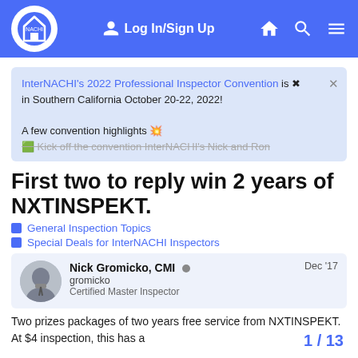Log In/Sign Up [nav icons]
InterNACHI's 2022 Professional Inspector Convention is in Southern California October 20-22, 2022!

A few convention highlights 💥

Kick off the convention InterNACHI's Nick and Ron
First two to reply win 2 years of NXTINSPEKT.
General Inspection Topics
Special Deals for InterNACHI Inspectors
Nick Gromicko, CMI
gromicko
Certified Master Inspector
Dec '17
Two prizes packages of two years free service from NXTINSPEKT. At $4 inspection, this has a
1 / 13